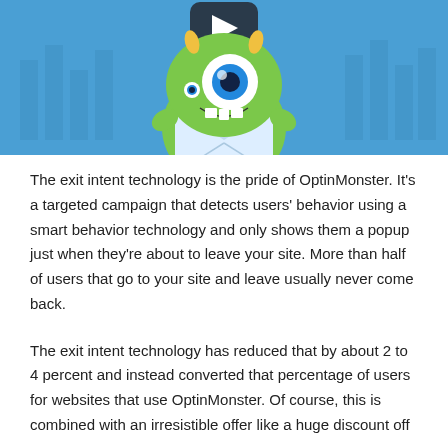[Figure (illustration): A video thumbnail with a blue background showing a green cartoon monster character holding an envelope, with a play button icon at the top center. The monster has one large eye, horns, and a big smile.]
The exit intent technology is the pride of OptinMonster. It's a targeted campaign that detects users' behavior using a smart behavior technology and only shows them a popup just when they're about to leave your site. More than half of users that go to your site and leave usually never come back.
The exit intent technology has reduced that by about 2 to 4 percent and instead converted that percentage of users for websites that use OptinMonster. Of course, this is combined with an irresistible offer like a huge discount off